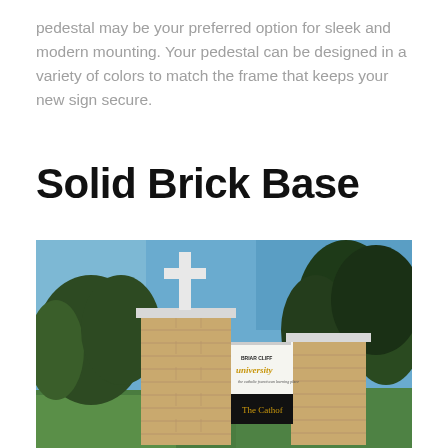pedestal may be your preferred option for sleek and modern mounting. Your pedestal can be designed in a variety of colors to match the frame that keeps your new sign secure.
Solid Brick Base
[Figure (photo): Photograph of a brick monument sign base with a white cross on top, displaying 'BRIAR CLIFF university - the catholic franciscan learning place' and 'The Cathof' on electronic message boards, surrounded by trees and green lawn.]